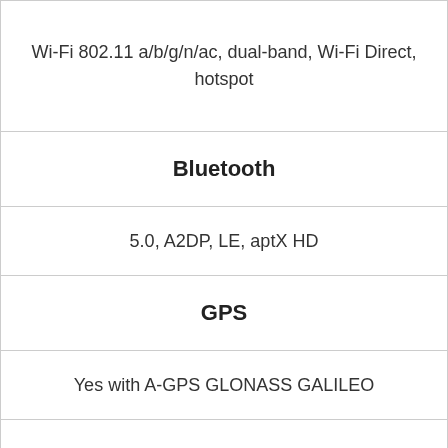| Wi-Fi 802.11 a/b/g/n/ac, dual-band, Wi-Fi Direct, hotspot |
| Bluetooth |
| 5.0, A2DP, LE, aptX HD |
| GPS |
| Yes with A-GPS GLONASS GALILEO |
| NFC |
| Yes |
| Radio |
| No |